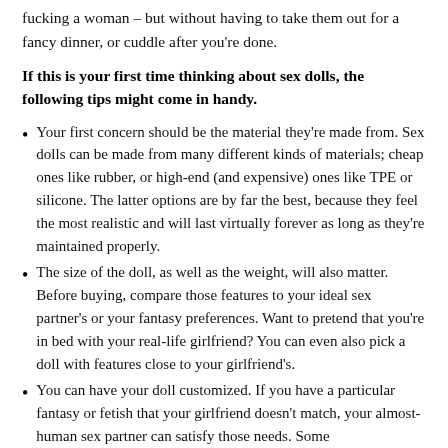fucking a woman – but without having to take them out for a fancy dinner, or cuddle after you're done.
If this is your first time thinking about sex dolls, the following tips might come in handy.
Your first concern should be the material they're made from. Sex dolls can be made from many different kinds of materials; cheap ones like rubber, or high-end (and expensive) ones like TPE or silicone. The latter options are by far the best, because they feel the most realistic and will last virtually forever as long as they're maintained properly.
The size of the doll, as well as the weight, will also matter. Before buying, compare those features to your ideal sex partner's or your fantasy preferences. Want to pretend that you're in bed with your real-life girlfriend? You can even also pick a doll with features close to your girlfriend's.
You can have your doll customized. If you have a particular fantasy or fetish that your girlfriend doesn't match, your almost-human sex partner can satisfy those needs. Some